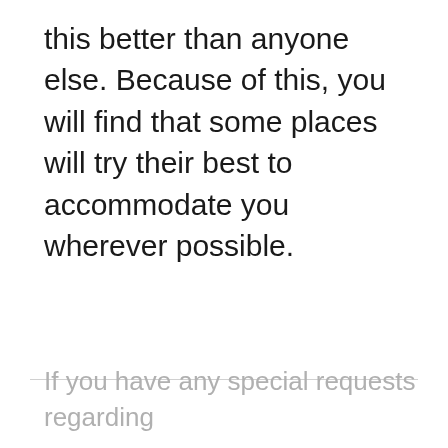this better than anyone else. Because of this, you will find that some places will try their best to accommodate you wherever possible.
If you have any special requests regarding